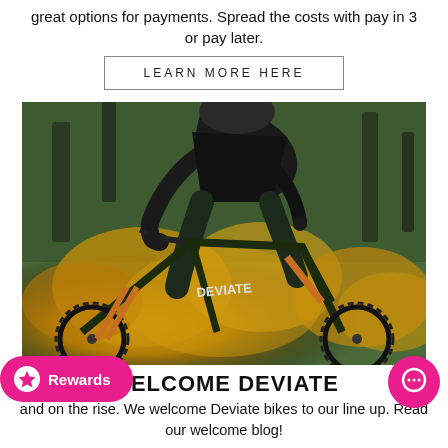great options for payments. Spread the costs with pay in 3 or pay later.
LEARN MORE HERE
[Figure (photo): A mountain biker riding a Deviate brand bike mid-air or on a trail, surrounded by yellow gorse flowers and green trees. The rider wears dark clothing and a helmet.]
WELCOME DEVIATE
and on the rise. We welcome Deviate bikes to our line up. Read our welcome blog!